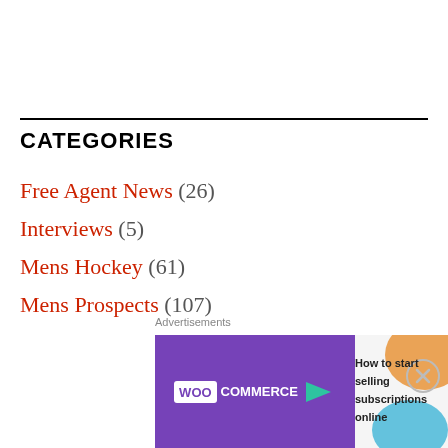CATEGORIES
Free Agent News (26)
Interviews (5)
Mens Hockey (61)
Mens Prospects (107)
Non-Hockey (2)
Opinions (7)
PHL (65)
Polish Heritage In Hockey (2)
[Figure (screenshot): WooCommerce advertisement banner: 'How to start selling subscriptions online']